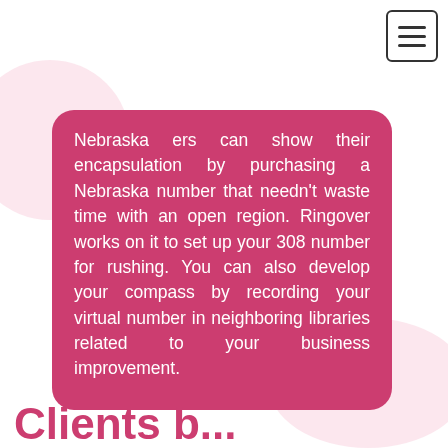Nebraska ers can show their encapsulation by purchasing a Nebraska number that needn't waste time with an open region. Ringover works on it to set up your 308 number for rushing. You can also develop your compass by recording your virtual number in neighboring libraries related to your business improvement.
Clients b...